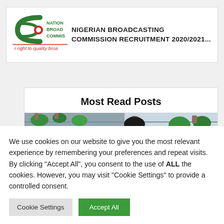[Figure (logo): NBC (Nigerian Broadcasting Commission) logo with green and red design, text: NATION BROAD COMMIS, r right to quality broa]
NIGERIAN BROADCASTING COMMISSION RECRUITMENT 2020/2021...
Most Read Posts
[Figure (photo): Photo of a woman with glasses in a greenhouse or plant nursery setting]
We use cookies on our website to give you the most relevant experience by remembering your preferences and repeat visits. By clicking "Accept All", you consent to the use of ALL the cookies. However, you may visit "Cookie Settings" to provide a controlled consent.
Cookie Settings
Accept All